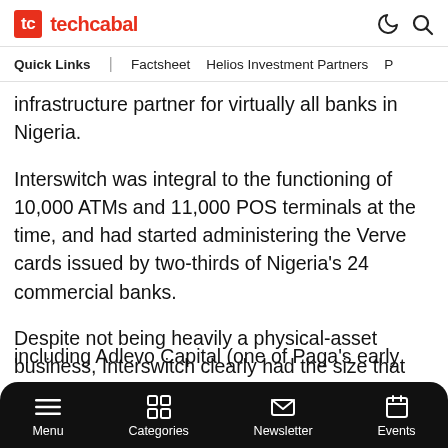techcabal
Quick Links | Factsheet  Helios Investment Partners  P
infrastructure partner for virtually all banks in Nigeria.
Interswitch was integral to the functioning of 10,000 ATMs and 11,000 POS terminals at the time, and had started administering the Verve cards issued by two-thirds of Nigeria's 24 commercial banks.
Despite not being heavily a physical-asset business, Interswitch clearly had the size that appeals to the PE investment ethos. By the end of 2010, Helios
including Adlevo Capital (one of Paga's early
Menu  Categories  Newsletter  Events